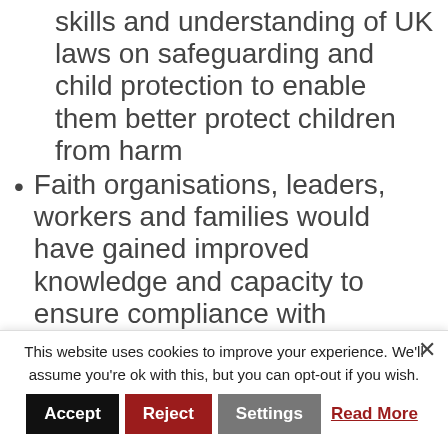skills and understanding of UK laws on safeguarding and child protection to enable them better protect children from harm
Faith organisations, leaders, workers and families would have gained improved knowledge and capacity to ensure compliance with statutory requirements of keeping children safe from abuse and harm
Improved communication and collaboration between statutory agencies and faith organisations
This website uses cookies to improve your experience. We'll assume you're ok with this, but you can opt-out if you wish.